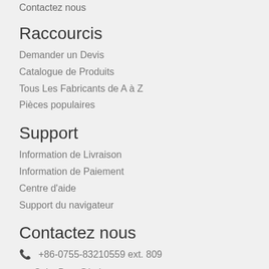Contactez nous
Raccourcis
Demander un Devis
Catalogue de Produits
Tous Les Fabricants de A à Z
Pièces populaires
Support
Information de Livraison
Information de Paiement
Centre d'aide
Support du navigateur
Contactez nous
📞 +86-0755-83210559 ext. 809
✉ SalesDept@heisener.com